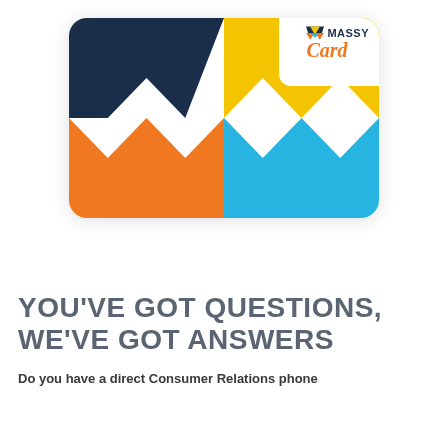[Figure (logo): Massy Card loyalty card graphic showing a large card with dark navy, yellow, orange, and blue geometric M-shapes and the Massy Card logo in the top right corner]
YOU'VE GOT QUESTIONS, WE'VE GOT ANSWERS
Do you have a direct Consumer Relations phone